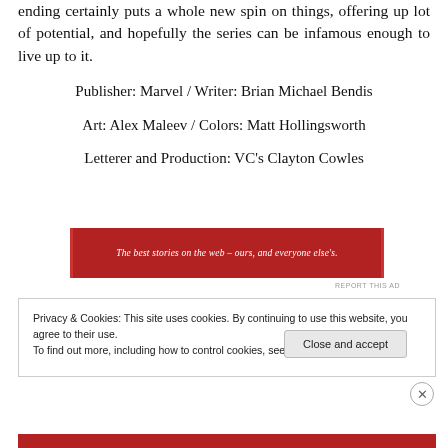ending certainly puts a whole new spin on things, offering up lot of potential, and hopefully the series can be infamous enough to live up to it.
Publisher: Marvel / Writer: Brian Michael Bendis
Art: Alex Maleev / Colors: Matt Hollingsworth
Letterer and Production: VC's Clayton Cowles
[Figure (other): Red advertisement banner with white italic text: 'The best stories on the web – ours, and everyone else's.']
REPORT THIS AD
Privacy & Cookies: This site uses cookies. By continuing to use this website, you agree to their use.
To find out more, including how to control cookies, see here: Cookie Policy
Close and accept